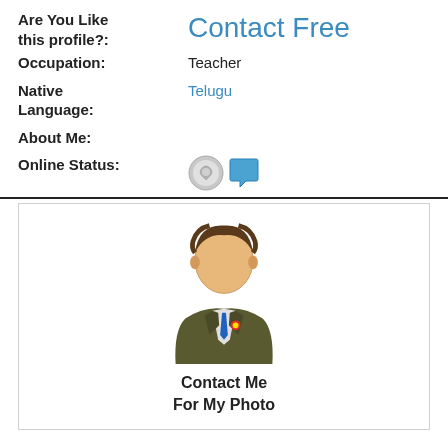Are You Like this profile?: Contact Free
Occupation: Teacher
Native Language: Telugu
About Me:
Online Status:
[Figure (illustration): Generic male avatar placeholder with text 'Contact Me For My Photo']
View Full Profile: Devendrashika-28, Nepali Groom
Name: Devendrashika